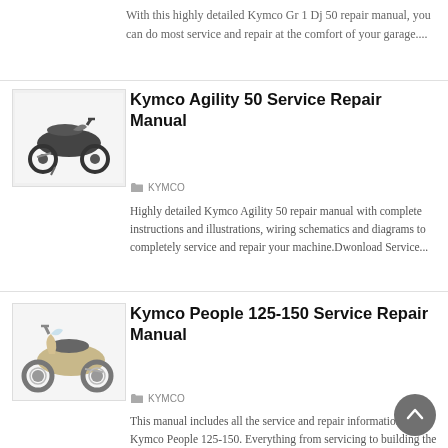With this highly detailed Kymco Gr 1 Dj 50 repair manual, you can do most service and repair at the comfort of your garage....
[Figure (photo): Photo of a dark colored Kymco Agility 50 scooter facing left]
Kymco Agility 50 Service Repair Manual
KYMCO
Highly detailed Kymco Agility 50 repair manual with complete instructions and illustrations, wiring schematics and diagrams to completely service and repair your machine.Dwonload Service...
[Figure (photo): Photo of a silver/gold Kymco People 125-150 scooter facing right]
Kymco People 125-150 Service Repair Manual
KYMCO
This manual includes all the service and repair information about Kymco People 125-150. Everything from servicing to building the machine...